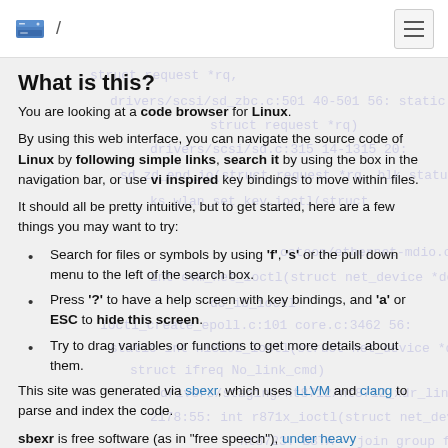/ (navigation header with HDD icon and hamburger menu)
What is this?
You are looking at a code browser for Linux.
By using this web interface, you can navigate the source code of Linux by following simple links, search it by using the box in the navigation bar, or use vi inspired key bindings to move within files.
It should all be pretty intuitive, but to get started, here are a few things you may want to try:
Search for files or symbols by using 'f', 's' or the pull down menu to the left of the search box.
Press '?' to have a help screen with key bindings, and 'a' or ESC to hide this screen.
Try to drag variables or functions to get more details about them.
This site was generated via sbexr, which uses LLVM and clang to parse and index the code.
sbexr is free software (as in "free speech"), under heavy development, shareahome.org and the Linux kernel source code